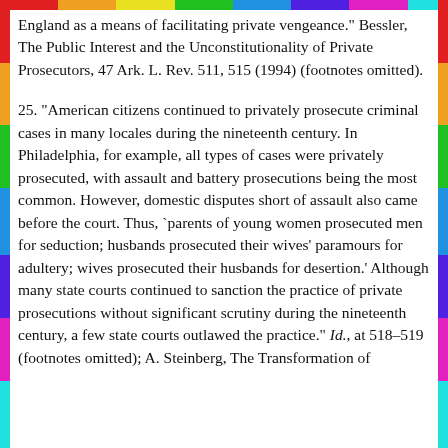England as a means of facilitating private vengeance." Bessler, The Public Interest and the Unconstitutionality of Private Prosecutors, 47 Ark. L. Rev. 511, 515 (1994) (footnotes omitted).
25. "American citizens continued to privately prosecute criminal cases in many locales during the nineteenth century. In Philadelphia, for example, all types of cases were privately prosecuted, with assault and battery prosecutions being the most common. However, domestic disputes short of assault also came before the court. Thus, `parents of young women prosecuted men for seduction; husbands prosecuted their wives' paramours for adultery; wives prosecuted their husbands for desertion.' Although many state courts continued to sanction the practice of private prosecutions without significant scrutiny during the nineteenth century, a few state courts outlawed the practice." Id., at 518–519 (footnotes omitted); A. Steinberg, The Transformation of